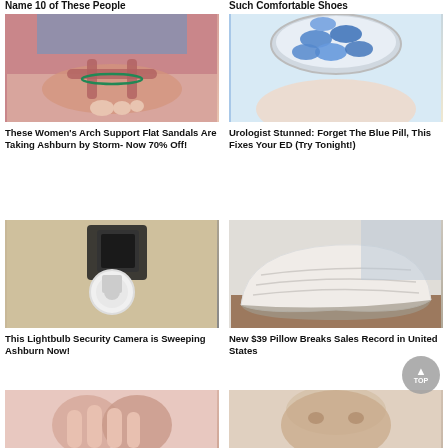Name 10 of These People
Such Comfortable Shoes
[Figure (photo): Women's red/pink flat sandals on feet]
These Women's Arch Support Flat Sandals Are Taking Ashburn by Storm- Now 70% Off!
[Figure (photo): Hand holding a pill bottle with blue oval pills]
Urologist Stunned: Forget The Blue Pill, This Fixes Your ED (Try Tonight!)
[Figure (photo): Lightbulb security camera on exterior wall]
This Lightbulb Security Camera is Sweeping Ashburn Now!
[Figure (photo): White memory foam pillow on brown surface]
New $39 Pillow Breaks Sales Record in United States
[Figure (photo): Close-up of fingers/hand (partially visible)]
[Figure (photo): Elderly person's face (partially visible)]